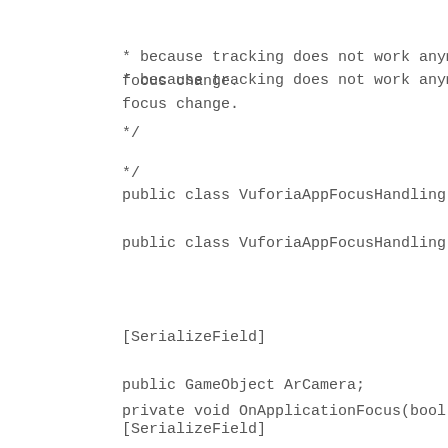* because tracking does not work anymore on Holol focus change.
*/
public class VuforiaAppFocusHandling : MonoBehavi
[SerializeField]
public GameObject ArCamera;
private void OnApplicationFocus(bool hasFocus)